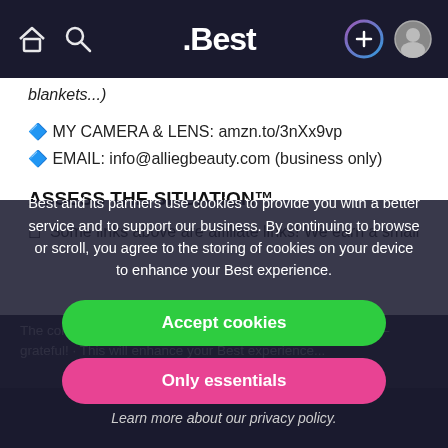.Best — navigation bar with home, search, logo, add, profile icons
blankets...)
🔷 MY CAMERA & LENS: amzn.to/3nXx9vp
🔷 EMAIL: info@alliegbeauty.com (business only)
ASSESS THE SITUATION™
◻ Some links above are affiliate links! We earn a small commission...
Best and its partners use cookies to provide you with a better service and to support our business. By continuing to browse or scroll, you agree to the storing of cookies on your device to enhance your Best experience.
Accept cookies
Only essentials
Learn more about our privacy policy.